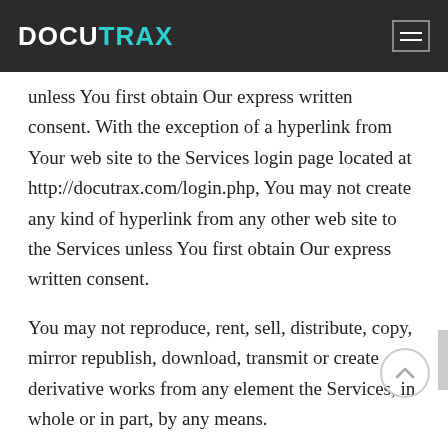DOCUTRAX
unless You first obtain Our express written consent. With the exception of a hyperlink from Your web site to the Services login page located at http://docutrax.com/login.php, You may not create any kind of hyperlink from any other web site to the Services unless You first obtain Our express written consent.
You may not reproduce, rent, sell, distribute, copy, mirror republish, download, transmit or create derivative works from any element the Services, in whole or in part, by any means.
"Docutrax" is a federally registered trademark and may not be used without written permission. All rights to its use, and any related artwork, are reserved.